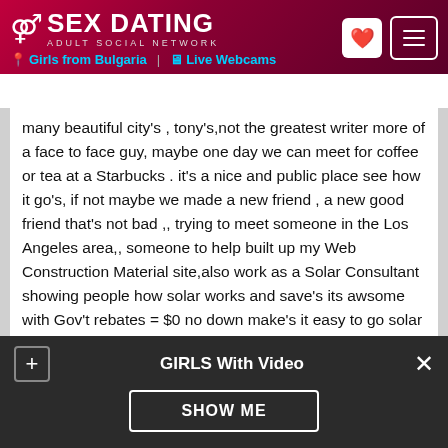SEX DATING ADULT SOCIAL NETWORK | Girls from Bulgaria | Live Webcams
many beautiful city's , tony's,not the greatest writer more of a face to face guy, maybe one day we can meet for coffee or tea at a Starbucks . it's a nice and public place see how it go's, if not maybe we made a new friend , a new good friend that's not bad ,, trying to meet someone in the Los Angeles area,, someone to help built up my Web Construction Material site,also work as a Solar Consultant showing people how solar works and save's its awsome with Gov't rebates = $0 no down make's it easy to go solar with no up front cost, can save over 50% on your Edison Electric bill also means no foreign oil. work with a lot of nice people and a few grumpy one's, always treat a woman great and she will treat you
GIRLS With Video
SHOW ME